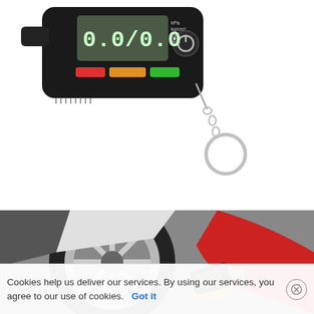[Figure (photo): Product photo of a black digital tire pressure gauge with an LCD display showing '0.0/0.0', unit indicators (kPa, kg/cm², mm, inch), red/yellow/green LED bar indicators, a power button, and a metal keychain ring attached.]
[Figure (photo): Action photo of a person in a red shirt using a small digital tire pressure gauge on a car tire valve stem. The car has a silver alloy wheel rim visible.]
Cookies help us deliver our services. By using our services, you agree to our use of cookies.   Got it